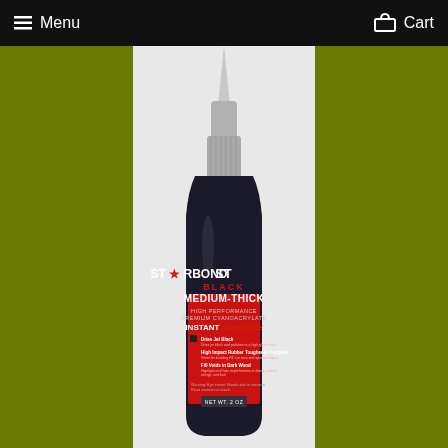Menu   Cart
[Figure (photo): Product photo of Starbond Black Medium-Thick High Performance Premium Cyanoacrylate Instant Adhesive bottle, 2 oz, with a long needle-tip applicator, on an olive green background]